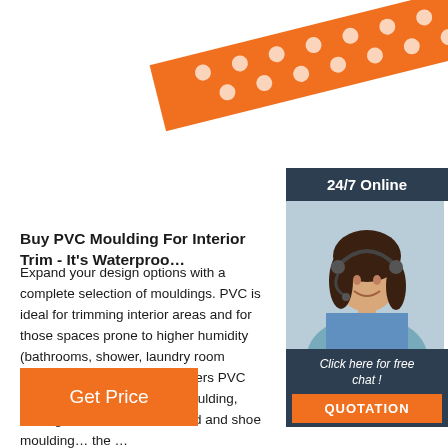[Figure (illustration): Orange diagonal ribbon/banner with white polka dots in upper right corner]
[Figure (illustration): Customer service chat widget showing a woman with headset, '24/7 Online' header, 'Click here for free chat!' call to action, and orange QUOTATION button]
Buy PVC Moulding For Interior Trim - It's Waterproo...
Expand your design options with a complete selection of mouldings. PVC is ideal for trimming interior areas and for those spaces prone to higher humidity (bathrooms, shower, laundry room etc.).Our Architectural trim offers PVC Moulding, such as: Crown Moulding, Casing, Chair Rail, Baseboard and shoe moulding… the …
[Figure (illustration): Orange 'Get Price' button]
[Figure (illustration): TOP navigation icon with orange dots forming triangle above the word TOP]